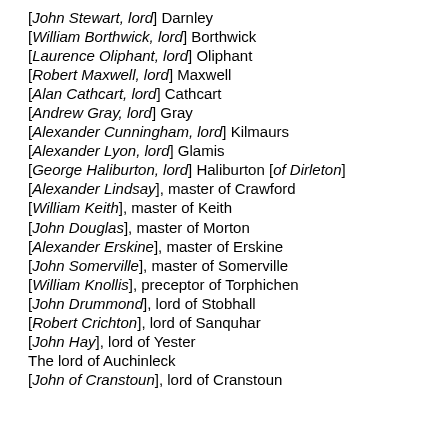[John Stewart, lord] Darnley
[William Borthwick, lord] Borthwick
[Laurence Oliphant, lord] Oliphant
[Robert Maxwell, lord] Maxwell
[Alan Cathcart, lord] Cathcart
[Andrew Gray, lord] Gray
[Alexander Cunningham, lord] Kilmaurs
[Alexander Lyon, lord] Glamis
[George Haliburton, lord] Haliburton [of Dirleton]
[Alexander Lindsay], master of Crawford
[William Keith], master of Keith
[John Douglas], master of Morton
[Alexander Erskine], master of Erskine
[John Somerville], master of Somerville
[William Knollis], preceptor of Torphichen
[John Drummond], lord of Stobhall
[Robert Crichton], lord of Sanquhar
[John Hay], lord of Yester
The lord of Auchinleck
[John of Cranstoun], lord of Cranstoun